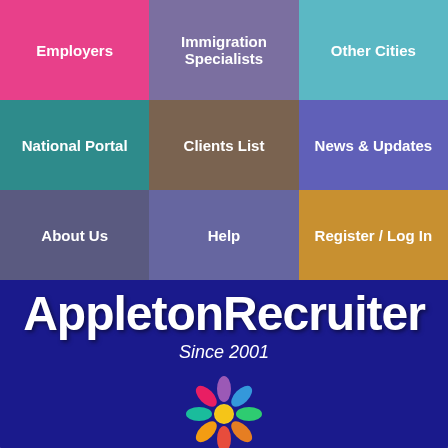[Figure (screenshot): Navigation grid with 9 colored cells: Employers (pink), Immigration Specialists (purple), Other Cities (teal), National Portal (teal-dark), Clients List (brown), News & Updates (blue), About Us (slate), Help (slate2), Register / Log In (gold)]
AppletonRecruiter Since 2001
[Figure (logo): Colorful flower/people logo with figures arranged in a circle]
the smart solution for Appleton jobs
[Figure (infographic): Social sharing buttons: Facebook, Messenger, Twitter, LinkedIn, Email, More]